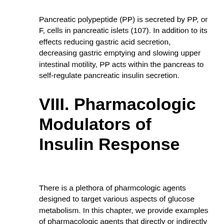Pancreatic polypeptide (PP) is secreted by PP, or F, cells in pancreatic islets (107). In addition to its effects reducing gastric acid secretion, decreasing gastric emptying and slowing upper intestinal motility, PP acts within the pancreas to self-regulate pancreatic insulin secretion.
VIII. Pharmacologic Modulators of Insulin Response
There is a plethora of pharmcologic agents designed to target various aspects of glucose metabolism. In this chapter, we provide examples of pharmacologic agents that directly or indirectly modulate insulin response.